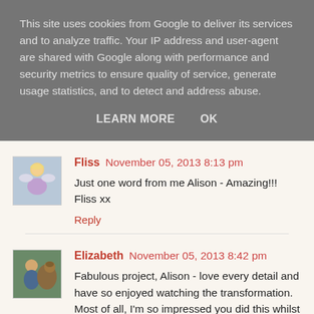This site uses cookies from Google to deliver its services and to analyze traffic. Your IP address and user-agent are shared with Google along with performance and security metrics to ensure quality of service, generate usage statistics, and to detect and address abuse.
LEARN MORE   OK
Fliss   November 05, 2013 8:13 pm
Just one word from me Alison - Amazing!!!
Fliss xx
Reply
Elizabeth   November 05, 2013 8:42 pm
Fabulous project, Alison - love every detail and have so enjoyed watching the transformation. Most of all, I'm so impressed you did this whilst in the process of moving house. I, too, am moving house - 10 days to go to the big